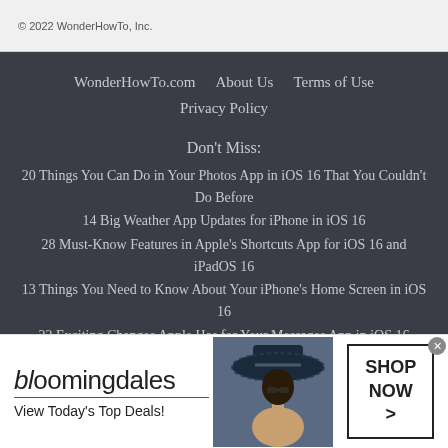© 2022 WonderHowTo, Inc.
WonderHowTo.com   About Us   Terms of Use
Privacy Policy
Don't Miss:
20 Things You Can Do in Your Photos App in iOS 16 That You Couldn't Do Before
14 Big Weather App Updates for iPhone in iOS 16
28 Must-Know Features in Apple's Shortcuts App for iOS 16 and iPadOS 16
13 Things You Need to Know About Your iPhone's Home Screen in iOS 16
22 Exciting Changes Apple Has for Your Messages App in iOS 16
[Figure (infographic): Bloomingdale's advertisement banner with logo, tagline 'View Today's Top Deals!', woman in hat image, and 'SHOP NOW >' button]